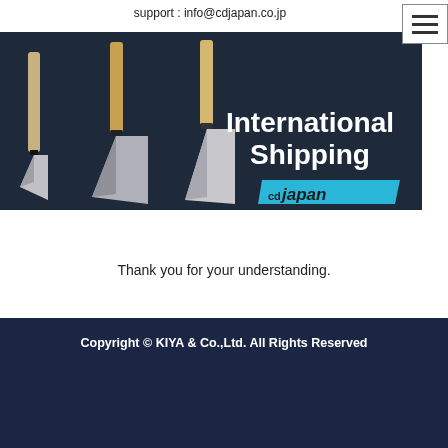support : info@cdjapan.co.jp
[Figure (photo): Banner image showing three Japanese knives on a dark background with text 'International Shipping' and 'cdjapan' logo with blue swoosh]
Thank you for your understanding.
Copyright © KIYA & Co.,Ltd. All Rights Reserved